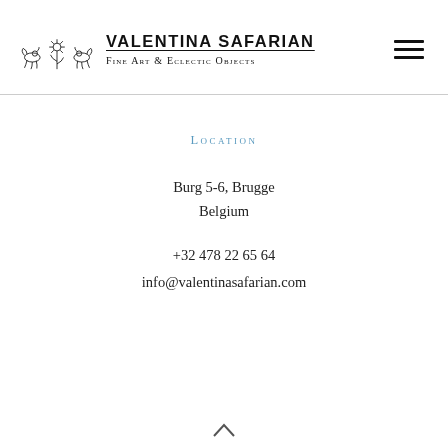VALENTINA SAFARIAN Fine Art & Eclectic Objects
Location
Burg 5-6, Brugge
Belgium
+32 478 22 65 64
info@valentinasafarian.com